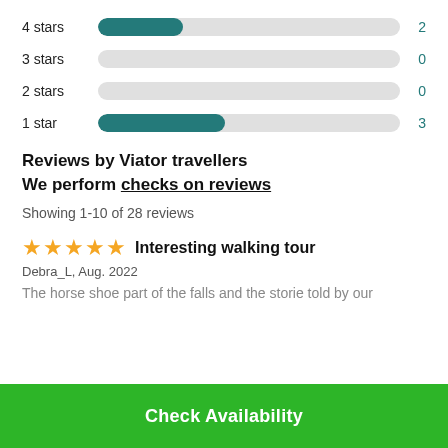[Figure (bar-chart): Star rating distribution]
Reviews by Viator travellers
We perform checks on reviews
Showing 1-10 of 28 reviews
★★★★★ Interesting walking tour
Debra_L, Aug. 2022
The horse shoe part of the falls and the storie told by our
Check Availability